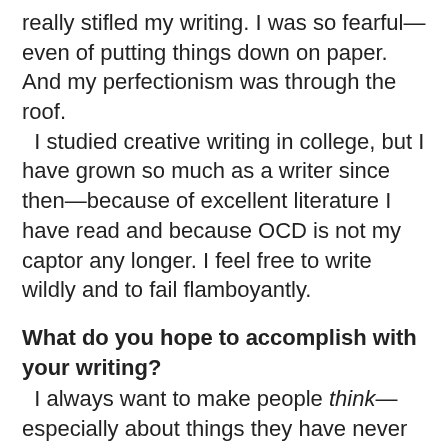really stifled my writing. I was so fearful—even of putting things down on paper. And my perfectionism was through the roof.
  I studied creative writing in college, but I have grown so much as a writer since then—because of excellent literature I have read and because OCD is not my captor any longer. I feel free to write wildly and to fail flamboyantly.
What do you hope to accomplish with your writing?
I always want to make people think—especially about things they have never before considered.  I want my writing to give people hope. I am a Christian, and I want my writing to introduce people to spiritual ideas and to thinking differently about God than maybe they have before.
What are you working on now?
Right now I am writing my first young adult novel! I